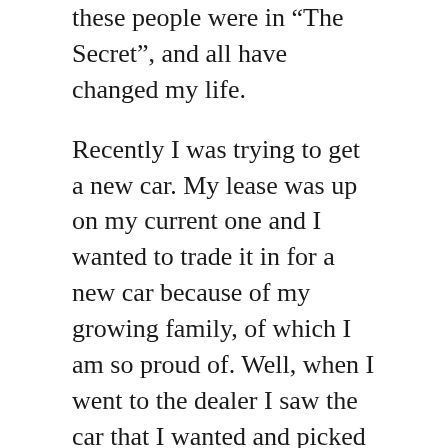these people were in “The Secret”, and all have changed my life.
Recently I was trying to get a new car. My lease was up on my current one and I wanted to trade it in for a new car because of my growing family, of which I am so proud of. Well, when I went to the dealer I saw the car that I wanted and picked it out with my wife, and everything was going smoothly until the credit check.
My credit is in total disarray due to a home that I signed for, in good faith for a family member, and that family member wasn’t paying on time. Now the house was 3 months behind and I was worried. The